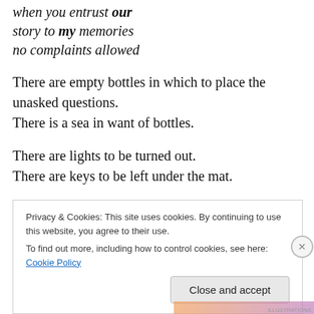when you entrust our story to my memories no complaints allowed
There are empty bottles in which to place the unasked questions.
There is a sea in want of bottles.
There are lights to be turned out.
There are keys to be left under the mat.
There is only the finality of goodbye.
Privacy & Cookies: This site uses cookies. By continuing to use this website, you agree to their use.
To find out more, including how to control cookies, see here: Cookie Policy
Close and accept